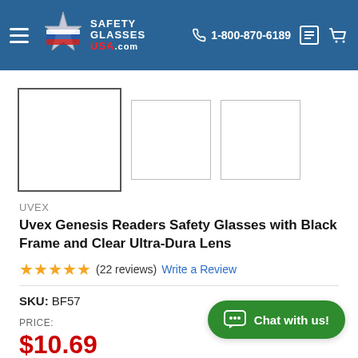Safety Glasses USA — 1-800-870-6189
[Figure (screenshot): Product thumbnail images: one large selected image and two smaller alternate views, all shown as empty white boxes with borders]
UVEX
Uvex Genesis Readers Safety Glasses with Black Frame and Clear Ultra-Dura Lens
★★★★★ (22 reviews)  Write a Review
SKU: BF57
PRICE:
$10.69
[Figure (other): Green chat button with speech bubble icon and text 'Chat with us!']